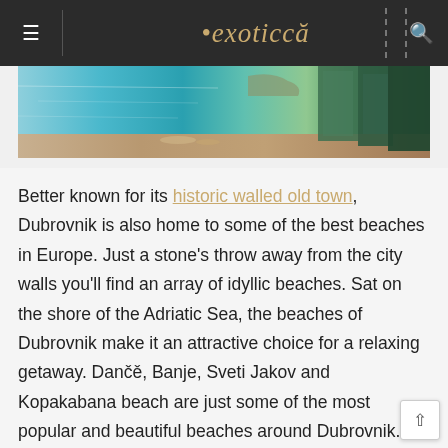exoticca
[Figure (photo): Aerial view of a turquoise Adriatic Sea beach with green pine trees and a sandy shore, likely near Dubrovnik, Croatia]
Better known for its historic walled old town, Dubrovnik is also home to some of the best beaches in Europe. Just a stone's throw away from the city walls you'll find an array of idyllic beaches. Sat on the shore of the Adriatic Sea, the beaches of Dubrovnik make it an attractive choice for a relaxing getaway. Dančě, Banje, Sveti Jakov and Kopakabana beach are just some of the most popular and beautiful beaches around Dubrovnik. With a combination of fascinating historic sights and immaculate beaches, Dubrovnik is one of the best beach destinations in Europe.